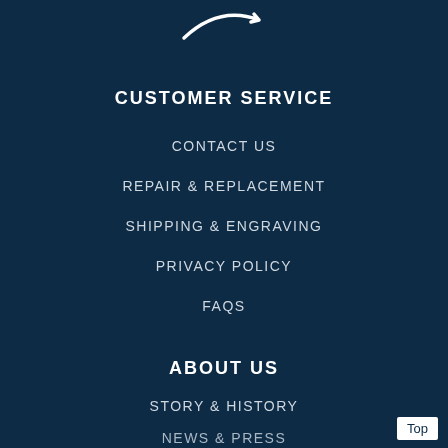[Figure (logo): Partial white curved logo/swoosh on dark navy background at top center]
CUSTOMER SERVICE
CONTACT US
REPAIR & REPLACEMENT
SHIPPING & ENGRAVING
PRIVACY POLICY
FAQS
ABOUT US
STORY & HISTORY
NEWS & PRESS
Top